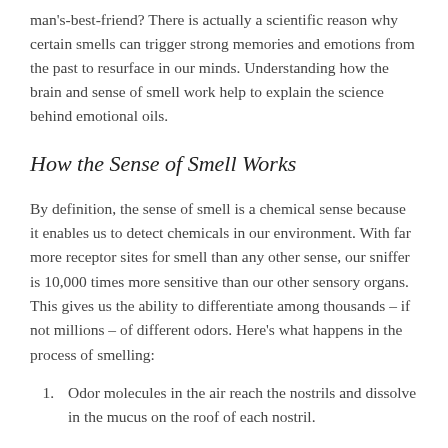man's-best-friend? There is actually a scientific reason why certain smells can trigger strong memories and emotions from the past to resurface in our minds. Understanding how the brain and sense of smell work help to explain the science behind emotional oils.
How the Sense of Smell Works
By definition, the sense of smell is a chemical sense because it enables us to detect chemicals in our environment. With far more receptor sites for smell than any other sense, our sniffer is 10,000 times more sensitive than our other sensory organs. This gives us the ability to differentiate among thousands – if not millions – of different odors. Here's what happens in the process of smelling:
Odor molecules in the air reach the nostrils and dissolve in the mucus on the roof of each nostril.